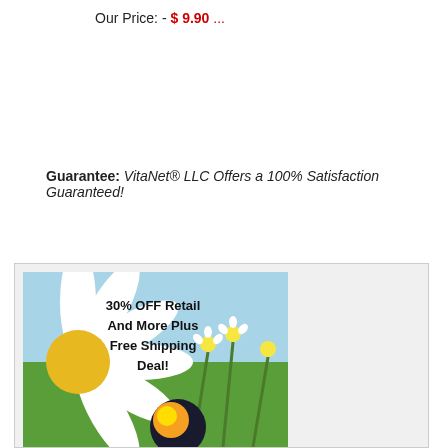Our Price: - $ 9.90 ...
Guarantee: VitaNet® LLC Offers a 100% Satisfaction Guaranteed!
[Figure (illustration): Promotional banner showing a daisy flower and chamomile plant background with text: 30% OFF Retail And More Plus Free Shipping Deal!]